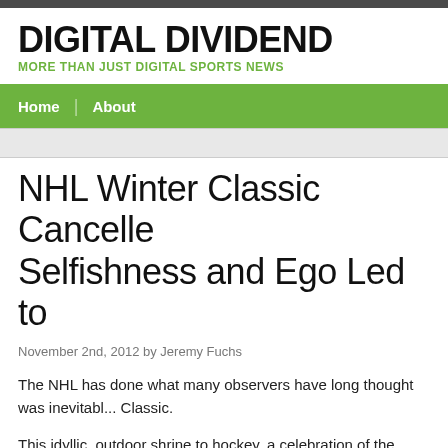DIGITAL DIVIDEND
MORE THAN JUST DIGITAL SPORTS NEWS
Home | About
NHL Winter Classic Cancelled: Selfishness and Ego Led to ...
November 2nd, 2012 by Jeremy Fuchs
The NHL has done what many observers have long thought was inevitable ... Classic.
This idyllic, outdoor shrine to hockey, a celebration of the game and an ad... fans in, is gone, cancelled, out of our collective memories.